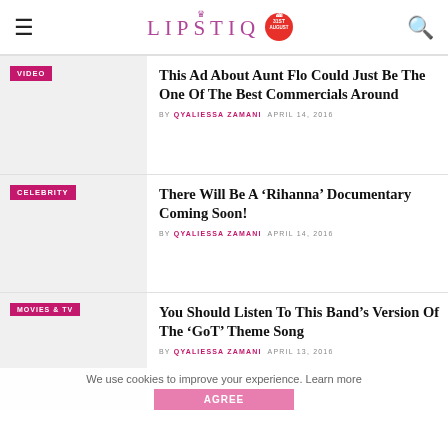LIPSTIQ
This Ad About Aunt Flo Could Just Be The One Of The Best Commercials Around | BY QYALIESSA ZAMANI  APRIL 14, 2016
There Will Be A ‘Rihanna’ Documentary Coming Soon! | BY QYALIESSA ZAMANI  APRIL 14, 2016
You Should Listen To This Band’s Version Of The ‘GoT’ Theme Song | BY QYALIESSA ZAMANI  APRIL 13, 2016
We use cookies to improve your experience. Learn more